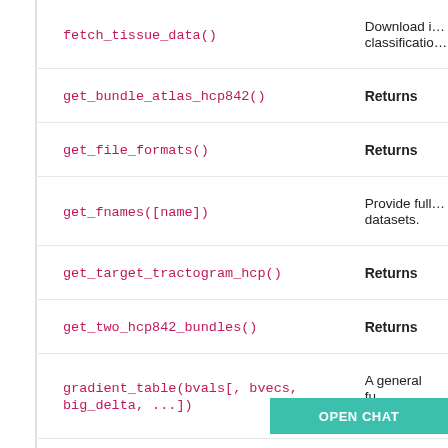| Function | Description |
| --- | --- |
| fetch_tissue_data() | Download i… classificatio… |
| get_bundle_atlas_hcp842() | Returns |
| get_file_formats() | Returns |
| get_fnames([name]) | Provide full… datasets. |
| get_target_tractogram_hcp() | Returns |
| get_two_hcp842_bundles() | Returns |
| gradient_table(bvals[, bvecs, big_delta, ...]) | A general fu… MR gradien… |
| gradient_table_from_gradient_streng… | …fu… …er… |
OPEN CHAT